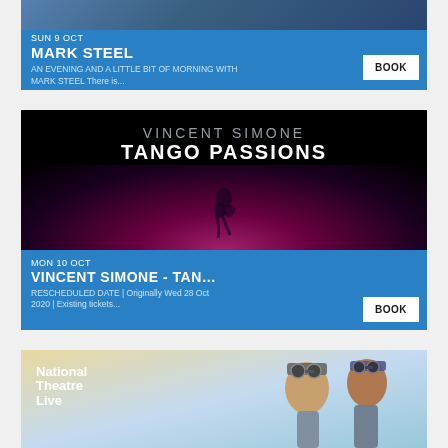[Figure (photo): Event listing card for Mark Steel show on SUN 9 OCT with blue background and performer image at top. Shows title MARK STEEL, description AN EVENING AND A LITTLE BIT OF MORNING WITH MARK STEEL There is..., and BOOK button.]
[Figure (photo): Event listing card for Vincent Simone - Tango Passions on MON 10 OCT. Dark black image shows VINCENT SIMONE TANGO PASSIONS text with couple dancing in pink/purple spotlight. Blue info bar shows RESCHEDULED DATE | Originally Wed 28 Oct 2020 | Existing tickets... and BOOK button.]
[Figure (photo): Partial event listing card for National Theatre Live event. Shows the National Theatre Live logo on left, sky background, and two people looking up wearing headgear/goggles on the right.]